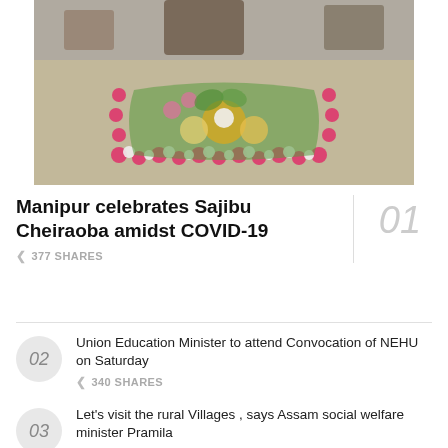[Figure (photo): A floral rangoli arrangement on the ground, with pink, white, and green flowers forming a rectangular pattern with decorative designs inside, photographed from above with hands visible at the top.]
Manipur celebrates Sajibu Cheiraoba amidst COVID-19
377 SHARES
01
Union Education Minister to attend Convocation of NEHU on Saturday
340 SHARES
02
Let's visit the rural Villages , says Assam social welfare minister Pramila
03